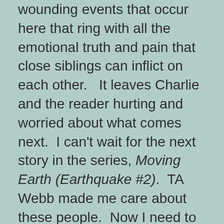wounding events that occur here that ring with all the emotional truth and pain that close siblings can inflict on each other.   It leaves Charlie and the reader hurting and worried about what comes next.  I can't wait for the next story in the series, Moving Earth (Earthquake #2).  TA Webb made me care about these people.  Now I need to know what happens next.  So will you.
Cover art by Laura Harner.  Great covers for all the series and books,including Higher Ground.
Book Details: